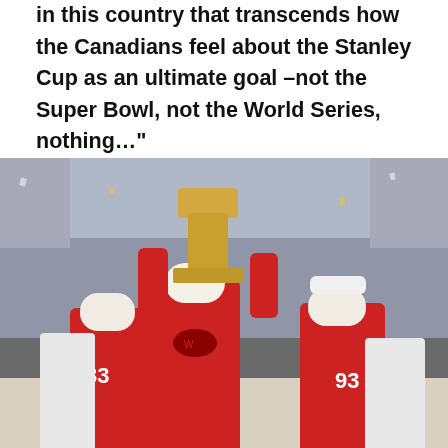in this country that transcends how the Canadians feel about the Stanley Cup as an ultimate goal –not the Super Bowl, not the World Series, nothing…"
[Figure (photo): Hockey players in red and white Detroit Red Wings uniforms celebrating, with one player hoisting the Stanley Cup trophy above his head in a crowded arena.]
The old Cup has been lost, stolen, dented, repaired, and mounted on new bases that grew taller and taller with the years. One player on his way home from a victory party in Ottawa drop-kicked the cup into a canal, then returned the next day to retrieve it. Another team forgot the cup in a photographer's studio, so the studio cleaning woman took it home